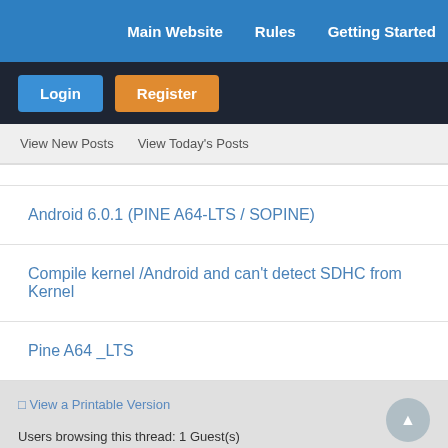Main Website | Rules | Getting Started
Login | Register
View New Posts   View Today's Posts
Android 6.0.1 (PINE A64-LTS / SOPINE)
Compile kernel /Android and can't detect SDHC from Kernel
Pine A64 _LTS
View a Printable Version
Users browsing this thread: 1 Guest(s)